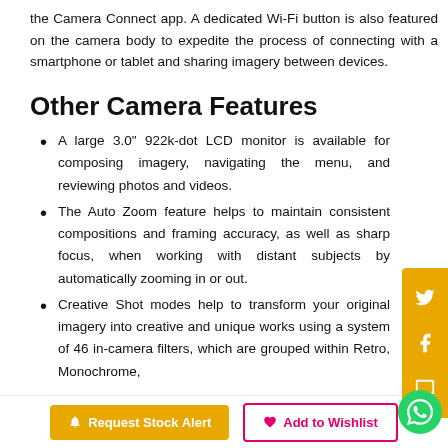the Camera Connect app. A dedicated Wi-Fi button is also featured on the camera body to expedite the process of connecting with a smartphone or tablet and sharing imagery between devices.
Other Camera Features
A large 3.0" 922k-dot LCD monitor is available for composing imagery, navigating the menu, and reviewing photos and videos.
The Auto Zoom feature helps to maintain consistent compositions and framing accuracy, as well as sharp focus, when working with distant subjects by automatically zooming in or out.
Creative Shot modes help to transform your original imagery into creative and unique works using a system of 46 in-camera filters, which are grouped within Retro, Monochrome,